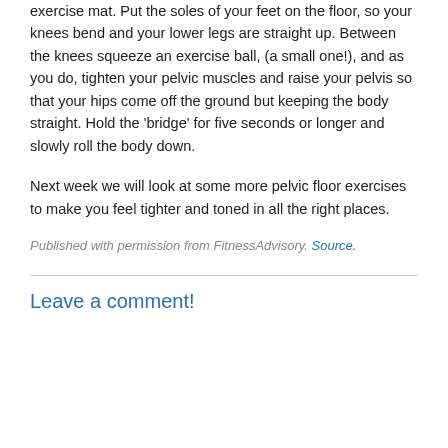exercise mat. Put the soles of your feet on the floor, so your knees bend and your lower legs are straight up. Between the knees squeeze an exercise ball, (a small one!), and as you do, tighten your pelvic muscles and raise your pelvis so that your hips come off the ground but keeping the body straight. Hold the 'bridge' for five seconds or longer and slowly roll the body down.
Next week we will look at some more pelvic floor exercises to make you feel tighter and toned in all the right places.
Published with permission from FitnessAdvisory. Source.
Leave a comment!